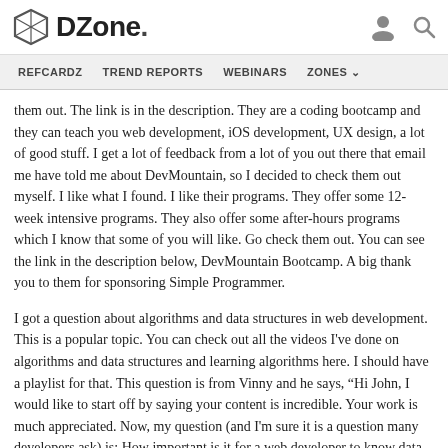DZone. REFCARDZ TREND REPORTS WEBINARS ZONES
them out. The link is in the description. They are a coding bootcamp and they can teach you web development, iOS development, UX design, a lot of good stuff. I get a lot of feedback from a lot of you out there that email me have told me about DevMountain, so I decided to check them out myself. I like what I found. I like their programs. They offer some 12-week intensive programs. They also offer some after-hours programs which I know that some of you will like. Go check them out. You can see the link in the description below, DevMountain Bootcamp. A big thank you to them for sponsoring Simple Programmer.
I got a question about algorithms and data structures in web development. This is a popular topic. You can check out all the videos I've done on algorithms and data structures and learning algorithms here. I should have a playlist for that. This question is from Vinny and he says, “Hi John, I would like to start off by saying your content is incredible. Your work is much appreciated. Now, my question (and I'm sure it is a question many developers ask) is: How important is it for a web developer to know data structures and algorithms? If they are important, how are they used